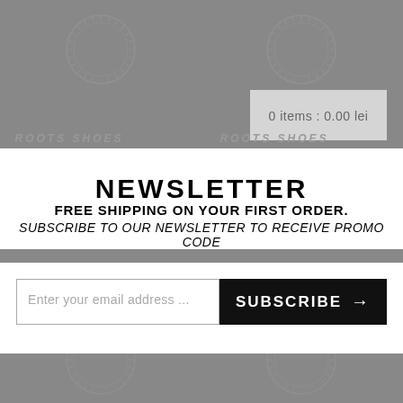[Figure (screenshot): E-commerce website background with grey overlay, circular logo watermarks (ROOTS SHOES), cart summary box showing '0 items: 0.00 lei', and ROOTS SHOES navigation text visible through modal]
NEWSLETTER
FREE SHIPPING ON YOUR FIRST ORDER. SUBSCRIBE TO OUR NEWSLETTER TO RECEIVE PROMO CODE
Enter your email address ... SUBSCRIBE →